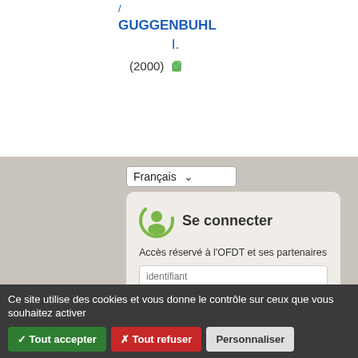/ GUGGENBUHL I. (2000)
[Figure (screenshot): Language selector dropdown showing 'Français']
[Figure (screenshot): Login card with title 'Se connecter', access text 'Accès réservé à l'OFDT et ses partenaires', identifiant field, mot de passe field with OK button, and 'Mot de passe oublié?' link]
Ce site utilise des cookies et vous donne le contrôle sur ceux que vous souhaitez activer
✓ Tout accepter
✗ Tout refuser
Personnaliser